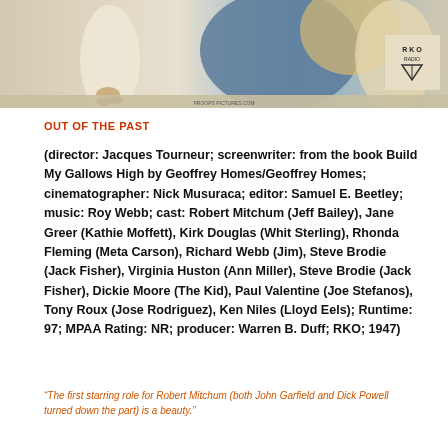[Figure (photo): Partial movie poster image for 'Out of the Past' showing the top portion with figures and RKO Radio Pictures logo]
OUT OF THE PAST
(director: Jacques Tourneur; screenwriter: from the book Build My Gallows High by Geoffrey Homes/Geoffrey Homes; cinematographer: Nick Musuraca; editor: Samuel E. Beetley; music: Roy Webb; cast: Robert Mitchum (Jeff Bailey), Jane Greer (Kathie Moffett), Kirk Douglas (Whit Sterling), Rhonda Fleming (Meta Carson), Richard Webb (Jim), Steve Brodie (Jack Fisher), Virginia Huston (Ann Miller), Steve Brodie (Jack Fisher), Dickie Moore (The Kid), Paul Valentine (Joe Stefanos), Tony Roux (Jose Rodriguez), Ken Niles (Lloyd Eels); Runtime: 97; MPAA Rating: NR; producer: Warren B. Duff; RKO; 1947)
“The first starring role for Robert Mitchum (both John Garfield and Dick Powell turned down the part) is a beauty.”